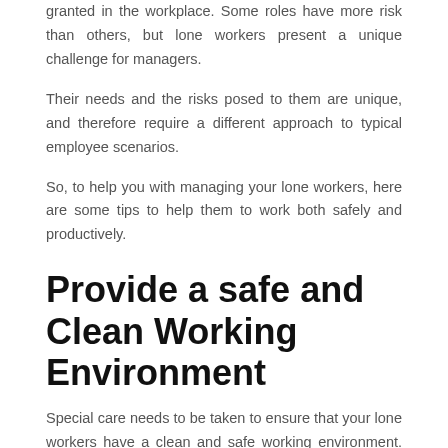granted in the workplace. Some roles have more risk than others, but lone workers present a unique challenge for managers.
Their needs and the risks posed to them are unique, and therefore require a different approach to typical employee scenarios.
So, to help you with managing your lone workers, here are some tips to help them to work both safely and productively.
Provide a safe and Clean Working Environment
Special care needs to be taken to ensure that your lone workers have a clean and safe working environment. Hiring a facilities management company will allow you to understand the risks your lone workers face and put in measures to help you manage them. They will also ensure that